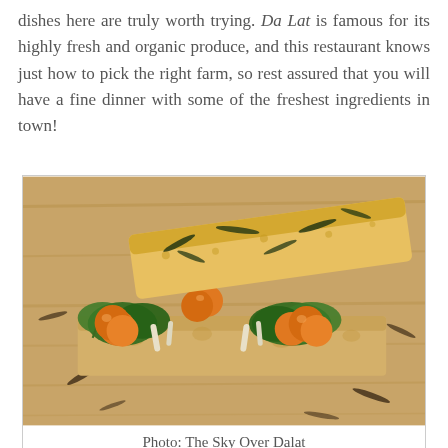dishes here are truly worth trying. Da Lat is famous for its highly fresh and organic produce, and this restaurant knows just how to pick the right farm, so rest assured that you will have a fine dinner with some of the freshest ingredients in town!
[Figure (photo): A sandwich made with focaccia-style bread topped with sautéed greens and cherry tomatoes, open-faced on a wooden cutting board]
Photo: The Sky Over Dalat